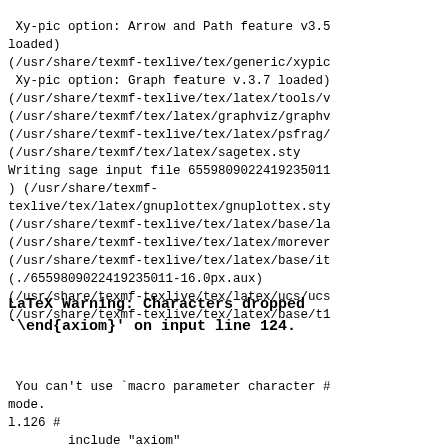Xy-pic option: Arrow and Path feature v3.5 loaded)
(/usr/share/texmf-texlive/tex/generic/xypic
 Xy-pic option: Graph feature v.3.7 loaded)
(/usr/share/texmf-texlive/tex/latex/tools/v
(/usr/share/texmf/tex/latex/graphviz/graphv
(/usr/share/texmf-texlive/tex/latex/psfrag/
(/usr/share/texmf/tex/latex/sagetex.sty
Writing sage input file 6559809022419235011
) (/usr/share/texmf-texlive/tex/latex/gnuplottex/gnuplottex.sty
(/usr/share/texmf-texlive/tex/latex/base/la
(/usr/share/texmf-texlive/tex/latex/morever
(/usr/share/texmf-texlive/tex/latex/base/it
(./6559809022419235011-16.0px.aux)
(/usr/share/texmf-texlive/tex/latex/ucs/ucs
(/usr/share/texmf-texlive/tex/latex/base/t1
LaTeX Warning: Characters dropped
`\end{axiom}' on input line 124.
You can't use `macro parameter character #
mode.
l.126 #
        include "axiom"
[1]